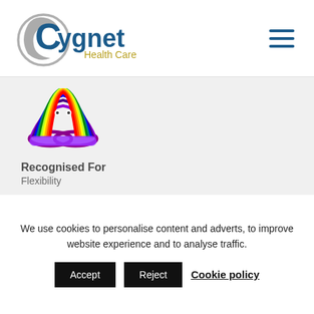[Figure (logo): Cygnet Health Care logo with circular swoosh graphic and blue/green text]
[Figure (illustration): Colorful rainbow slinky toy character with eyes - flexibility award icon]
Recognised For
Flexibility
Recognised By
Paul Helliwell-Kenny - Registered Manager
Where they work
Longfield House
We use cookies to personalise content and adverts, to improve website experience and to analyse traffic.
Accept  Reject  Cookie policy